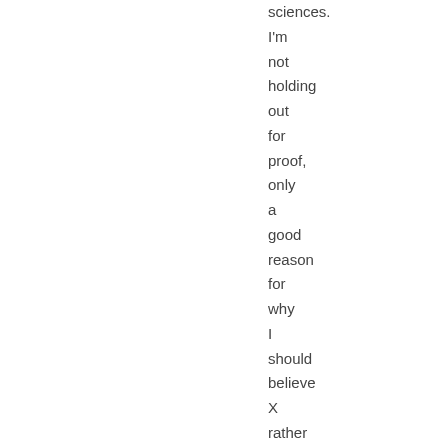sciences. I'm not holding out for proof, only a good reason for why I should believe X rather than Y, Z or simply not X. As